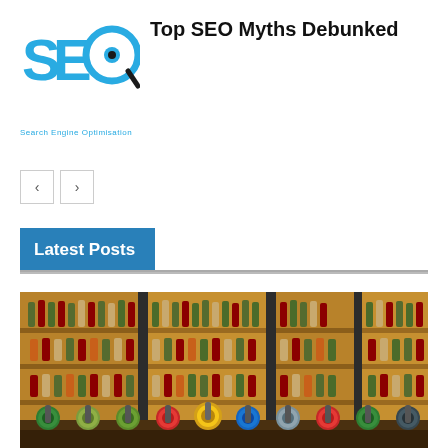[Figure (logo): SEO logo with eye magnifying glass icon and 'Search Engine Optimisation' tagline]
Top SEO Myths Debunked
Latest Posts
[Figure (photo): Interior of a bar/liquor store with shelves of wine and spirit bottles, beer taps in the foreground, warm amber lighting]